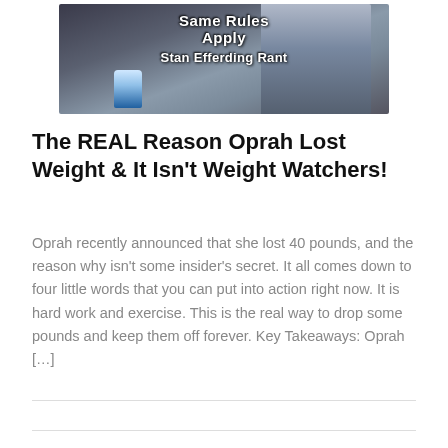[Figure (photo): Video thumbnail showing a man in a vehicle with text overlay reading 'Same Rules Apply Stan Efferding Rant']
The REAL Reason Oprah Lost Weight & It Isn't Weight Watchers!
Oprah recently announced that she lost 40 pounds, and the reason why isn't some insider's secret. It all comes down to four little words that you can put into action right now. It is hard work and exercise. This is the real way to drop some pounds and keep them off forever. Key Takeaways: Oprah […]